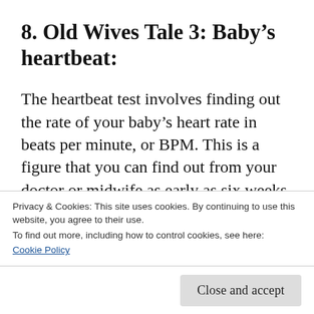8. Old Wives Tale 3: Baby's heartbeat:
The heartbeat test involves finding out the rate of your baby's heart rate in beats per minute, or BPM. This is a figure that you can find out from your doctor or midwife as early as six weeks into your pregnancy, when a baby's heart can first be detected. According to the heart rate theory, the fetal heart rate of girls is
Privacy & Cookies: This site uses cookies. By continuing to use this website, you agree to their use.
To find out more, including how to control cookies, see here:
Cookie Policy
Close and accept